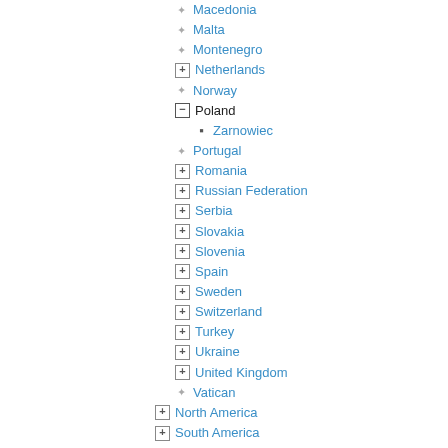Macedonia
Malta
Montenegro
Netherlands
Norway
Poland
Zarnowiec
Portugal
Romania
Russian Federation
Serbia
Slovakia
Slovenia
Spain
Sweden
Switzerland
Turkey
Ukraine
United Kingdom
Vatican
North America
South America
Links
International
Austria
Belarus
Belgium
Bulgaria
Croatia
Czech Republic
Finland